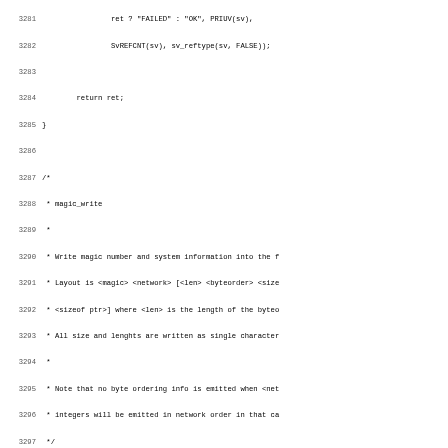Source code listing, lines 3281-3313, showing C functions including magic_write